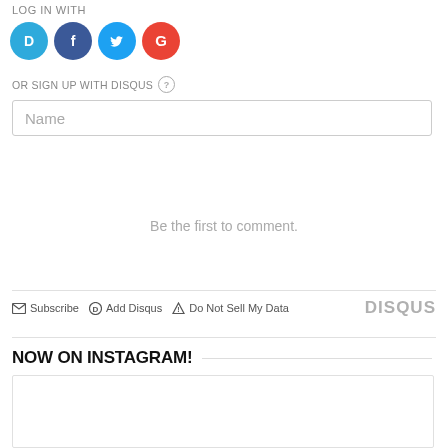LOG IN WITH
[Figure (other): Social login icons: Disqus (blue circle with D), Facebook (dark blue circle with F), Twitter (light blue circle with bird), Google (red circle with G)]
OR SIGN UP WITH DISQUS ?
Name
Be the first to comment.
Subscribe  Add Disqus  Do Not Sell My Data  DISQUS
NOW ON INSTAGRAM!
[Figure (other): Instagram embed card with quotation mark icon, user avatar placeholder and name bar placeholder]